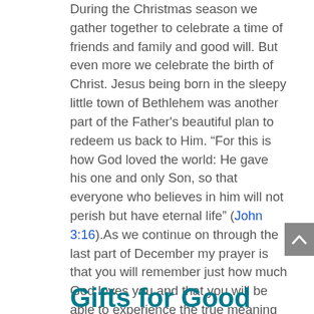During the Christmas season we gather together to celebrate a time of friends and family and good will. But even more we celebrate the birth of Christ. Jesus being born in the sleepy little town of Bethlehem was another part of the Father's beautiful plan to redeem us back to Him. “For this is how God loved the world: He gave his one and only Son, so that everyone who believes in him will not perish but have eternal life” (John 3:16).As we continue on through the last part of December my prayer is that you will remember just how much God loves you and that you will be able to experience the true meaning of Christmas in a way that you never have before.
Read the complete newsletter.
Gifts for Good